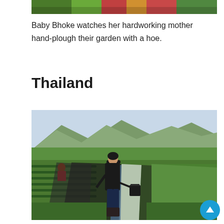[Figure (photo): Top portion of a photo showing colorful scene — partial view of plants and colorful clothing/items]
Baby Bhoke watches her hardworking mother hand-plough their garden with a hoe.
Thailand
[Figure (photo): A child in a black jacket carries a bucket while walking through rows of strawberry plants in a farm field. Mountains visible in the background. Another worker visible in the far left. Rows covered with black plastic mulch sheeting and white irrigation pipes.]